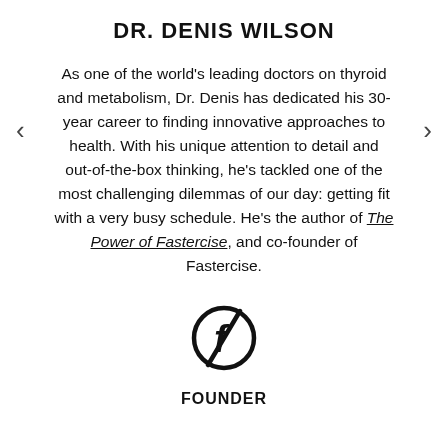DR. DENIS WILSON
As one of the world's leading doctors on thyroid and metabolism, Dr. Denis has dedicated his 30-year career to finding innovative approaches to health. With his unique attention to detail and out-of-the-box thinking, he's tackled one of the most challenging dilemmas of our day: getting fit with a very busy schedule. He's the author of The Power of Fastercise, and co-founder of Fastercise.
[Figure (logo): Fastercise stylized F logo mark in black]
FOUNDER